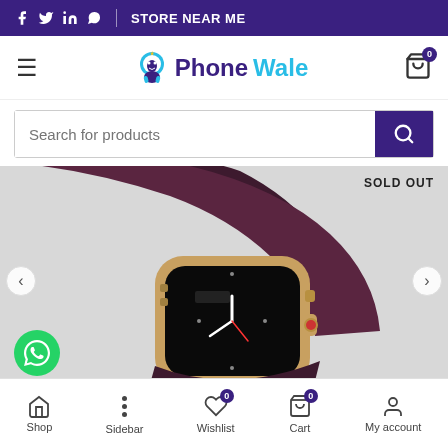f  in  (whatsapp)  |  STORE NEAR ME
[Figure (logo): PhoneWale logo with mascot character and cart icon with badge 0]
[Figure (screenshot): Search bar with placeholder 'Search for products' and purple search button]
[Figure (photo): Apple Watch Series 7 with gold stainless steel case and dark cherry/elderberry sport band. SOLD OUT label at top right. WhatsApp floating button at bottom left. Previous and Next navigation arrows.]
Shop  Sidebar  Wishlist (0)  Cart (0)  My account